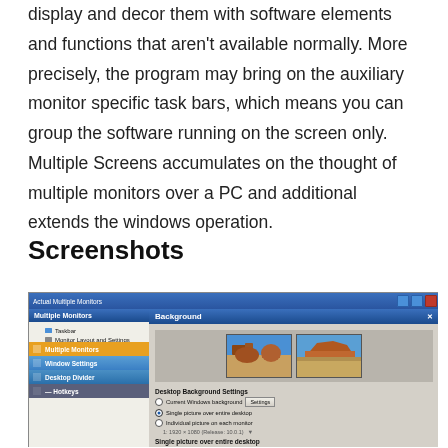display and decor them with software elements and functions that aren't available normally. More precisely, the program may bring on the auxiliary monitor specific task bars, which means you can group the software running on the screen only. Multiple Screens accumulates on the thought of multiple monitors over a PC and additional extends the windows operation.
Screenshots
[Figure (screenshot): Screenshot of Actual Multiple Monitors application showing the Background settings panel with desktop background options and desert landscape preview thumbnails.]